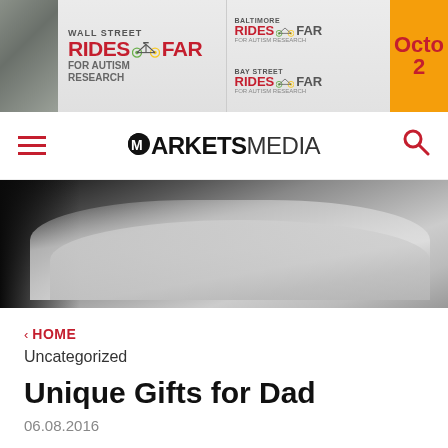[Figure (photo): Banner advertisement for 'Wall Street Rides Far for Autism Research' and 'Baltimore Rides Far' and 'Bay Street Rides Far' events, with an orange box partially showing 'Octo' and '2']
[Figure (logo): MarketsMedia logo with hamburger menu on left and search icon on right in navbar]
[Figure (photo): Black and white close-up photo of an open human hand/palm]
< HOME
Uncategorized
Unique Gifts for Dad
06.08.2016